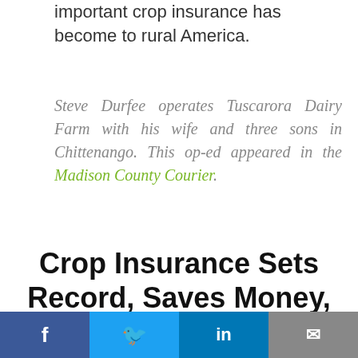important crop insurance has become to rural America.
Steve Durfee operates Tuscarora Dairy Farm with his wife and three sons in Chittenango. This op-ed appeared in the Madison County Courier.
Crop Insurance Sets Record, Saves Money, Protects America's Heartland in 2018
Social share bar: Facebook, Twitter, LinkedIn, Email